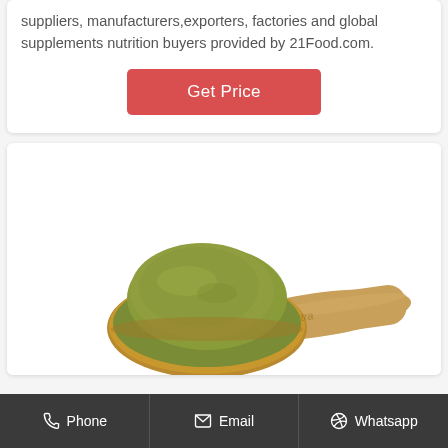suppliers, manufacturers,exporters, factories and global supplements nutrition buyers provided by 21Food.com.
Get Price
[Figure (photo): A wooden spoon/scoop filled with green powder (nutrition supplement powder), viewed from the side against a white background.]
Phone  Email  Whatsapp